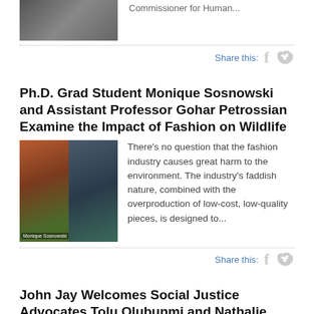[Figure (photo): Group photo of people standing together]
Commissioner for Human...
Share this:
Ph.D. Grad Student Monique Sosnowski and Assistant Professor Gohar Petrossian Examine the Impact of Fashion on Wildlife
[Figure (photo): Two photos side by side: Monique Sosnowski on left, Gohar Petrossian on right]
There's no question that the fashion industry causes great harm to the environment. The industry's faddish nature, combined with the overproduction of low-cost, low-quality pieces, is designed to...
Share this:
John Jay Welcomes Social Justice Advocates Tolu Olubunmi and Nathalie Molina Niño for Women Leaders Talk Series